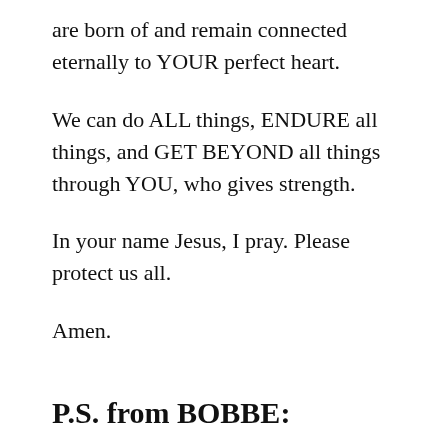are born of and remain connected eternally to YOUR perfect heart.
We can do ALL things, ENDURE all things, and GET BEYOND all things through YOU, who gives strength.
In your name Jesus, I pray. Please protect us all.
Amen.
P.S. from BOBBE:
Just now I uploaded this and went to check my email. I have belonged to a neat site for years